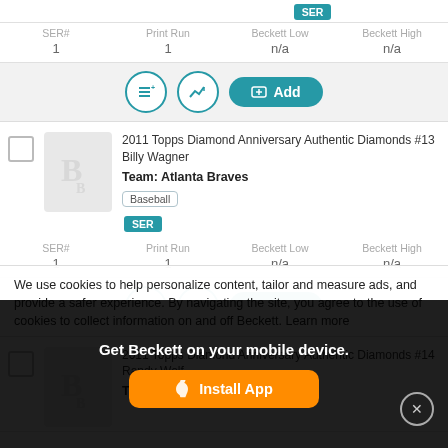SER (badge, partial top)
| SER# | Print Run | Beckett Low | Beckett High |
| --- | --- | --- | --- |
| 1 | 1 | n/a | n/a |
[Figure (screenshot): Action buttons: list icon, chart icon, Add button]
2011 Topps Diamond Anniversary Authentic Diamonds #13 Billy Wagner
Team: Atlanta Braves
Baseball | SER
| SER# | Print Run | Beckett Low | Beckett High |
| --- | --- | --- | --- |
| 1 | 1 | n/a | n/a |
[Figure (screenshot): Action buttons: list icon, chart icon, Add button]
2011 Topps Diamond Anniversary Authentic Diamonds #14 Randy Wolf
Team: Milwaukee Brewers
We use cookies to help personalize content, tailor and measure ads, and provide a safer experience. By navigating the site, you agree to the use of cookies to collect information on and off Beckett. Learn more
Get Beckett on your mobile device.
Install App